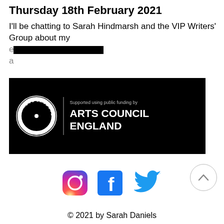Thursday 18th February 2021
I'll be chatting to Sarah Hindmarsh and the VIP Writers' Group about my experience of being on submission a...
[Figure (logo): Arts Council England logo banner – black background with circular Arts Council England stamp logo on left, vertical divider, 'Supported using public funding by ARTS COUNCIL ENGLAND' text on right in white]
[Figure (infographic): Three social media icons: Instagram (gradient circle with camera icon), Facebook (blue square with f), Twitter (blue bird)]
[Figure (other): Back-to-top button: circle with upward chevron arrow]
© 2021 by Sarah Daniels